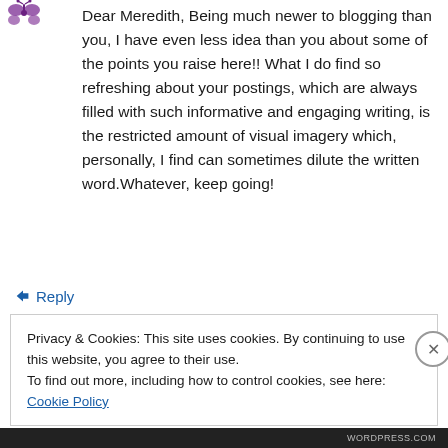[Figure (logo): Small purple butterfly/avatar icon in top left]
Dear Meredith, Being much newer to blogging than you, I have even less idea than you about some of the points you raise here!! What I do find so refreshing about your postings, which are always filled with such informative and engaging writing, is the restricted amount of visual imagery which, personally, I find can sometimes dilute the written word.Whatever, keep going!
↳ Reply
Privacy & Cookies: This site uses cookies. By continuing to use this website, you agree to their use.
To find out more, including how to control cookies, see here: Cookie Policy
Close and accept